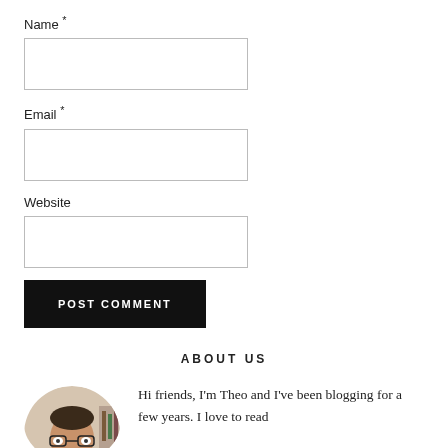Name *
Email *
Website
POST COMMENT
ABOUT US
[Figure (photo): Circular portrait photo of a man with glasses, sitting indoors]
Hi friends, I'm Theo and I've been blogging for a few years. I love to read